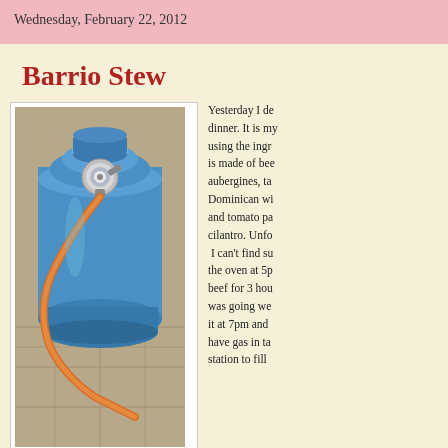Wednesday, February 22, 2012
Barrio Stew
[Figure (photo): A blue propane/gas cylinder with a pressure gauge and an orange rubber hose attached, sitting on a stone or tile floor.]
Yesterday I de dinner. It is my using the ingr is made of bee aubergines, ta Dominican wi and tomato pa cilantro. Unfo I can't find su the oven at 5p beef for 3 hou was going we it at 7pm and have gas in ta station to fill